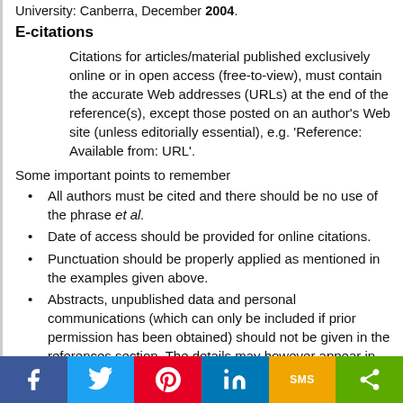University: Canberra, December 2004.
E-citations
Citations for articles/material published exclusively online or in open access (free-to-view), must contain the accurate Web addresses (URLs) at the end of the reference(s), except those posted on an author's Web site (unless editorially essential), e.g. ‘Reference: Available from: URL’.
Some important points to remember
All authors must be cited and there should be no use of the phrase et al.
Date of access should be provided for online citations.
Punctuation should be properly applied as mentioned in the examples given above.
Abstracts, unpublished data and personal communications (which can only be included if prior permission has been obtained) should not be given in the references section. The details may however appear in the footnotes.
The authors are encouraged to use a recent version of EndNote (version 5 and above) or Reference Manager (version 10) when formatting